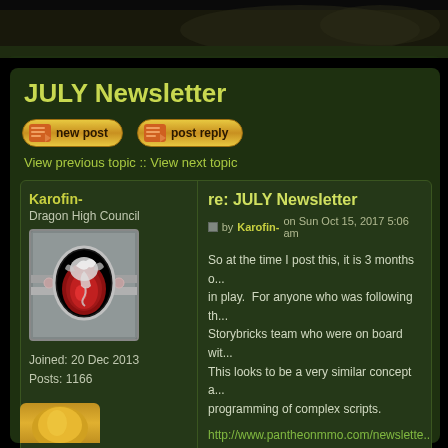[Figure (screenshot): Top banner area of a dark-themed gaming forum with brownish-green gradient]
JULY Newsletter
new post   post reply
View previous topic :: View next topic
Karofin-
Dragon High Council
Joined: 20 Dec 2013
Posts: 1166
re: JULY Newsletter
by Karofin- on Sun Oct 15, 2017 5:06 am
So at the time I post this, it is 3 months o... in play. For anyone who was following th... Storybricks team who were on board wit... This looks to be a very similar concept a... programming of complex scripts.
http://www.pantheonmmo.com/newslette...
July's Pantheon Newsletter